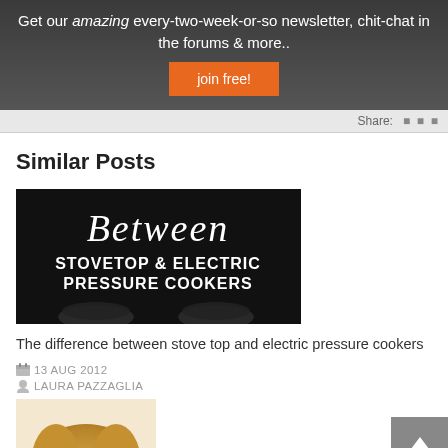Get our amazing every-two-week-or-so newsletter, chit-chat in the forums & more..
join free!
Share:
Similar Posts
[Figure (photo): Black promotional image with cursive 'Between' text and bold 'STOVETOP & ELECTRIC PRESSURE COOKERS' subtitle, with pressure cooker illustrations at bottom]
The difference between stove top and electric pressure cookers
13 AUG 2012
LAURA PAZZAGLIA
[Figure (photo): Partial photo of a person with light brown/blonde hair, cut off at bottom of page]